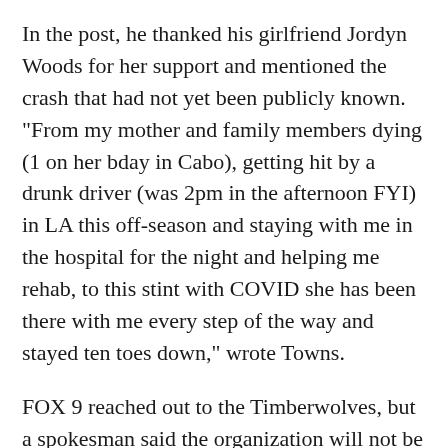In the post, he thanked his girlfriend Jordyn Woods for her support and mentioned the crash that had not yet been publicly known.
"From my mother and family members dying (1 on her bday in Cabo), getting hit by a drunk driver (was 2pm in the afternoon FYI) in LA this off-season and staying with me in the hospital for the night and helping me rehab, to this stint with COVID she has been there with me every step of the way and stayed ten toes down," wrote Towns.
FOX 9 reached out to the Timberwolves, but a spokesman said the organization will not be commenting on the matter.
FOX 9 contacted the Los Angeles Police Department, but the agency was unable to provide additional